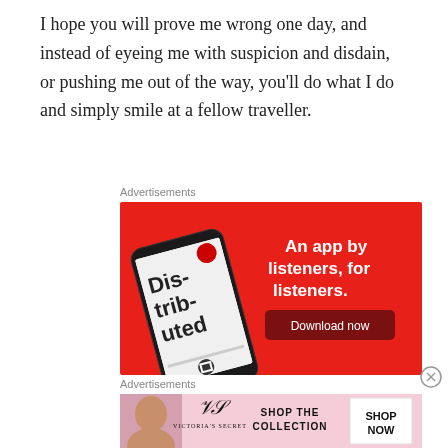I hope you will prove me wrong one day, and instead of eyeing me with suspicion and disdain, or pushing me out of the way, you'll do what I do and simply smile at a fellow traveller.
Advertisements
[Figure (infographic): Red advertisement banner for a podcast app showing a smartphone with 'Distributed' podcast displayed, with text 'An app by listeners, for listeners.' and a 'Download now' button]
Advertisements
[Figure (infographic): Victoria's Secret advertisement showing a model, the VS logo and text, 'SHOP THE COLLECTION' and a 'SHOP NOW' button on a pink background]